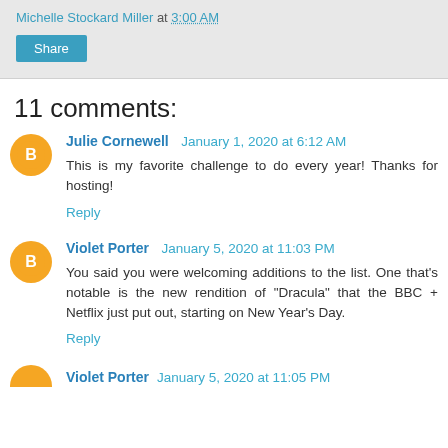Michelle Stockard Miller at 3:00 AM
Share
11 comments:
Julie Cornewell January 1, 2020 at 6:12 AM
This is my favorite challenge to do every year! Thanks for hosting!
Reply
Violet Porter January 5, 2020 at 11:03 PM
You said you were welcoming additions to the list. One that's notable is the new rendition of "Dracula" that the BBC + Netflix just put out, starting on New Year's Day.
Reply
Violet Porter January 5, 2020 at 11:05 PM